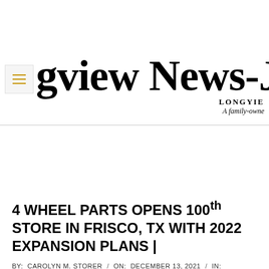Longview News-Journal — LONGVIEW — A family-owne
4 WHEEL PARTS OPENS 100th STORE IN FRISCO, TX WITH 2022 EXPANSION PLANS |
BY: CAROLYN M. STORER / ON: DECEMBER 13, 2021 / IN: ELECTRIC STORE